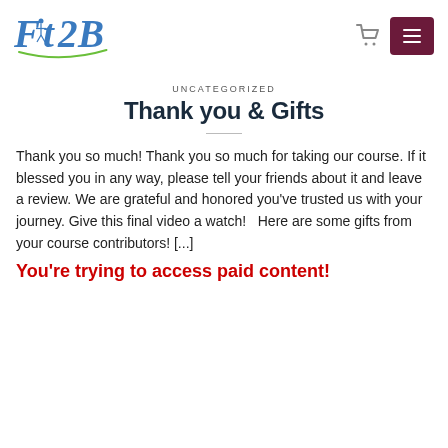Fit2B [logo] with cart icon and menu button
UNCATEGORIZED
Thank you & Gifts
Thank you so much! Thank you so much for taking our course. If it blessed you in any way, please tell your friends about it and leave a review. We are grateful and honored you’ve trusted us with your journey. Give this final video a watch!   Here are some gifts from your course contributors! [...]
You’re trying to access paid content!